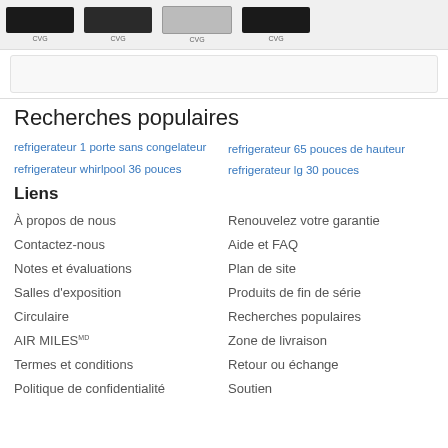[Figure (photo): Top strip showing product images of appliances (refrigerators/electronics) with small labels, on a light gray background]
Recherches populaires
refrigerateur 1 porte sans congelateur
refrigerateur whirlpool 36 pouces
refrigerateur 65 pouces de hauteur
refrigerateur lg 30 pouces
Liens
À propos de nous
Renouvelez votre garantie
Contactez-nous
Aide et FAQ
Notes et évaluations
Plan de site
Salles d'exposition
Produits de fin de série
Circulaire
Recherches populaires
AIR MILESMD
Zone de livraison
Termes et conditions
Retour ou échange